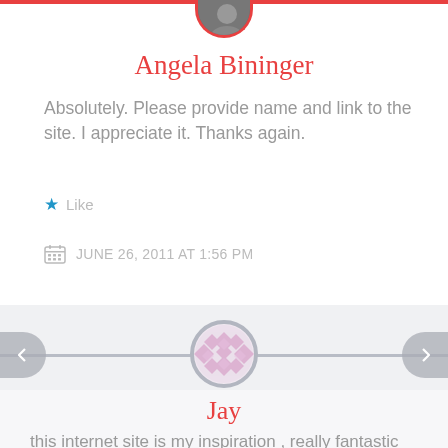[Figure (photo): Circular avatar photo of Angela Bininger, partially visible at top, with red circular border, cropped at top of page]
Angela Bininger
Absolutely. Please provide name and link to the site. I appreciate it. Thanks again.
★ Like
JUNE 26, 2011 AT 1:56 PM
[Figure (illustration): Decorative circular avatar with pink geometric diamond/quilt pattern, centered on a gray horizontal divider bar, with left and right arrow navigation buttons]
Jay
this internet site is my inspiration , really fantastic style and perfect content